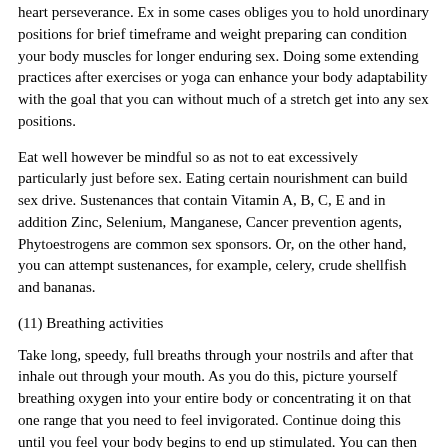heart perseverance. Ex in some cases obliges you to hold unordinary positions for brief timeframe and weight preparing can condition your body muscles for longer enduring sex. Doing some extending practices after exercises or yoga can enhance your body adaptability with the goal that you can without much of a stretch get into any sex positions.
Eat well however be mindful so as not to eat excessively particularly just before sex. Eating certain nourishment can build sex drive. Sustenances that contain Vitamin A, B, C, E and in addition Zinc, Selenium, Manganese, Cancer prevention agents, Phytoestrogens are common sex sponsors. Or, on the other hand, you can attempt sustenances, for example, celery, crude shellfish and bananas.
(11) Breathing activities
Take long, speedy, full breaths through your nostrils and after that inhale out through your mouth. As you do this, picture yourself breathing oxygen into your entire body or concentrating it on that one range that you need to feel invigorated. Continue doing this until you feel your body begins to end up stimulated. You can then reach for your bed. Amid your lovemaking session, keep on breathing in through your nostrils and inhale out through your mouth. Proceed with along these lines of breathing and you will feel your body turns out to be more invigorated and your...